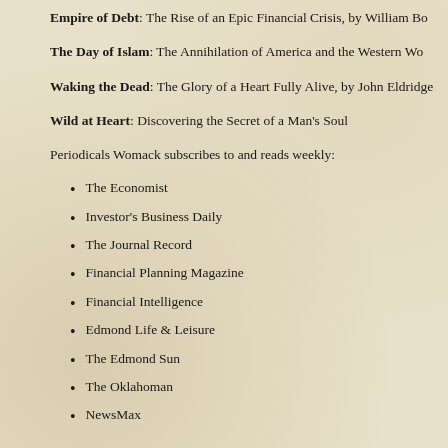Empire of Debt: The Rise of an Epic Financial Crisis, by William Bo…
The Day of Islam: The Annihilation of America and the Western Wo…
Waking the Dead: The Glory of a Heart Fully Alive, by John Eldridge…
Wild at Heart: Discovering the Secret of a Man's Soul
Periodicals Womack subscribes to and reads weekly:
The Economist
Investor's Business Daily
The Journal Record
Financial Planning Magazine
Financial Intelligence
Edmond Life & Leisure
The Edmond Sun
The Oklahoman
NewsMax